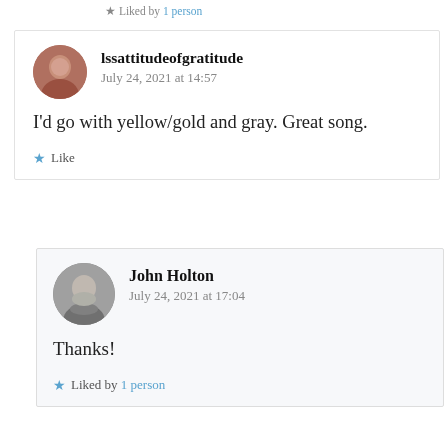Liked by 1 person
lssattitudeofgratitude
July 24, 2021 at 14:57
I'd go with yellow/gold and gray. Great song.
Like
John Holton
July 24, 2021 at 17:04
Thanks!
Liked by 1 person